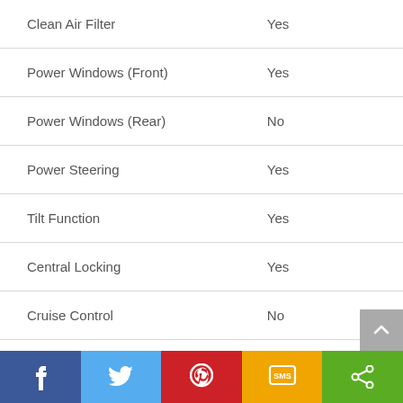| Feature | Value |
| --- | --- |
| Clean Air Filter | Yes |
| Power Windows (Front) | Yes |
| Power Windows (Rear) | No |
| Power Steering | Yes |
| Tilt Function | Yes |
| Central Locking | Yes |
| Cruise Control | No |
| Speakers | No |
Facebook | Twitter | Pinterest | SMS | Share